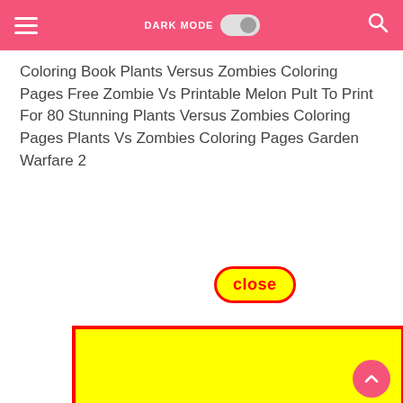DARK MODE [toggle] [search]
Coloring Book Plants Versus Zombies Coloring Pages Free Zombie Vs Printable Melon Pult To Print For 80 Stunning Plants Versus Zombies Coloring Pages Plants Vs Zombies Coloring Pages Garden Warfare 2
[Figure (screenshot): A yellow rectangle with a red border representing an image placeholder. A red-bordered oval 'close' button overlaps the top-center of the image area.]